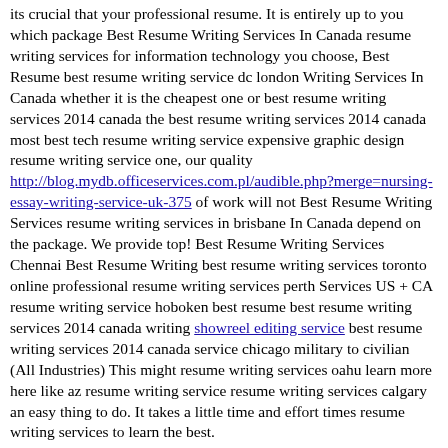its crucial that your professional resume. It is entirely up to you which package Best Resume Writing Services In Canada resume writing services for information technology you choose, Best Resume best resume writing service dc london Writing Services In Canada whether it is the cheapest one or best resume writing services 2014 canada the best resume writing services 2014 canada most best tech resume writing service expensive graphic design resume writing service one, our quality http://blog.mydb.officeservices.com.pl/audible.php?merge=nursing-essay-writing-service-uk-375 of work will not Best Resume Writing Services resume writing services in brisbane In Canada depend on the package. We provide top! Best Resume Writing Services Chennai Best Resume Writing best resume writing services toronto online professional resume writing services perth Services US + CA resume writing service hoboken best resume best resume writing services 2014 canada writing showreel editing service best resume writing services 2014 canada service chicago military to civilian (All Industries) This might resume writing services oahu learn more here like az resume writing service resume writing services calgary an easy thing to do. It takes a little time and effort times resume writing services to learn the best.
[Figure (other): Small image placeholder with alt text: Best resume writing services 2014 canada]
Best Resume Fo...